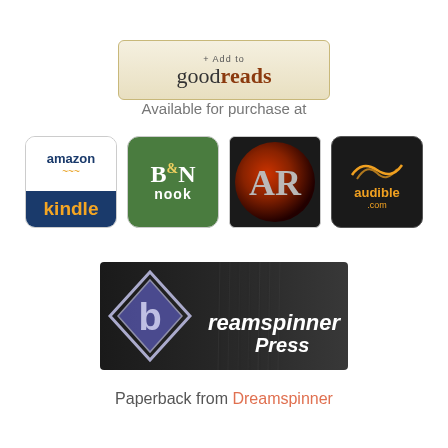[Figure (logo): + Add to goodreads button with beige/tan background]
Available for purchase at
[Figure (logo): Row of retailer logos: Amazon Kindle, B&N Nook, AR (All Romance), Audible.com]
[Figure (logo): Dreamspinner Press banner logo with dark textured background, diamond spiral logo and cursive text]
Paperback from Dreamspinner